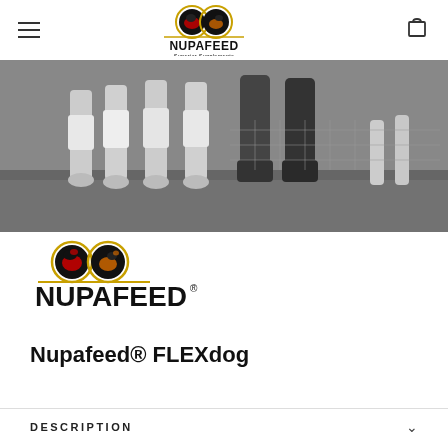Nupafeed Superior Supplements — navigation header with hamburger menu and cart icon
[Figure (photo): Black and white photo showing close-up of horse legs with bandages and a rider's boots standing on grass, with a dog's legs visible on the right]
[Figure (logo): Nupafeed Superior Supplements logo with two circular animal icons (horse and dog) above the bold text NUPAFEED]
Nupafeed® FLEXdog
DESCRIPTION